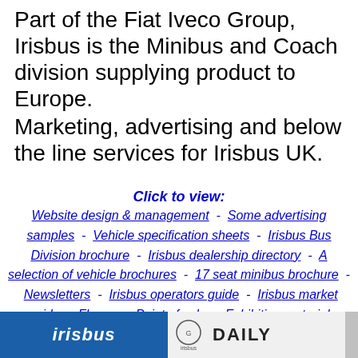Part of the Fiat Iveco Group, Irisbus is the Minibus and Coach division supplying product to Europe.
Marketing, advertising and below the line services for Irisbus UK.
Click to view:
Website design & management - Some advertising samples - Vehicle specification sheets - Irisbus Bus Division brochure - Irisbus dealership directory - A selection of vehicle brochures - 17 seat minibus brochure - Newsletters - Irisbus operators guide - Irisbus market guide - Flyers -- Point of sale -- Exhibition material
[Figure (photo): Bottom banner showing Irisbus logo on blue background on the left, and Iveco/Daily logo on light background on the right]